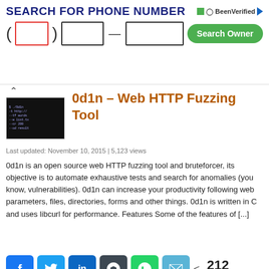[Figure (screenshot): BeenVerified ad banner: SEARCH FOR PHONE NUMBER with input fields and Search Owner button]
0d1n – Web HTTP Fuzzing Tool
Last updated: November 10, 2015 | 5,123 views
0d1n is an open source web HTTP fuzzing tool and bruteforcer, its objective is to automate exhaustive tests and search for anomalies (you know, vulnerabilities). 0d1n can increase your productivity following web parameters, files, directories, forms and other things. 0d1n is written in C and uses libcurl for performance. Features Some of the features of [...]
[Figure (infographic): Social share buttons: Facebook, Twitter, LinkedIn, Buffer, WhatsApp, Email. Share count: 212 SHARES]
Topic: Hacking Tools, Web Hacking